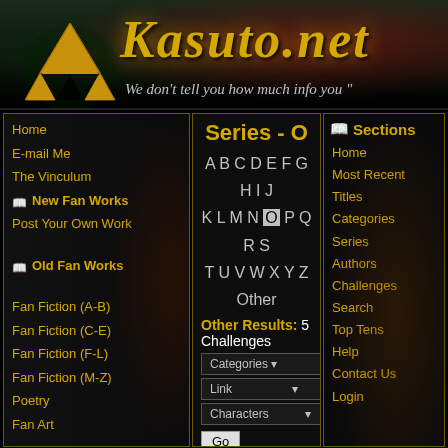[Figure (screenshot): Kasuto.net website header banner with triforce logo, gold italic site title 'Kasuto.net', subtitle 'We don't tell you how much info you "']
Home
E-mail Me
The Vinculum
New Fan Works
Post Your Own Work
Old Fan Works
Fan Fiction (A-B)
Fan Fiction (C-E)
Fan Fiction (F-L)
Fan Fiction (M-Z)
Poetry
Fan Art
Zelda Series
Legend of Zelda
Series - O
A B C D E F G H I J K L M N O P Q R S T U V W X Y Z Other
Other Results: 5 Challenges
Ocarina of Time by Bobbitybob ★★★★★ [Reviews -
Sections
Home
Most Recent
Titles
Categories
Series
Authors
Challenges
Search
Top Tens
Help
Contact Us
Login